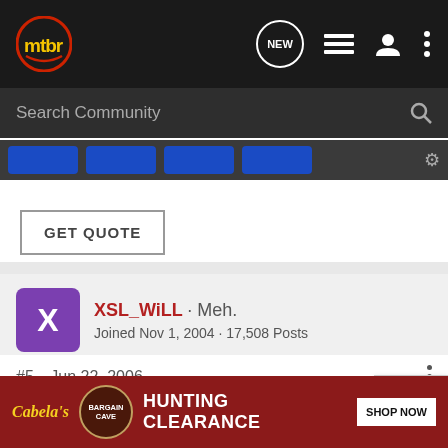[Figure (screenshot): mtbr forum page header with dark navigation bar showing mtbr logo, NEW chat icon, list icon, user icon, and more icon]
[Figure (screenshot): Search Community search bar on dark background]
[Figure (screenshot): Blue button banner strip]
GET QUOTE
XSL_WiLL · Meh.
Joined Nov 1, 2004 · 17,508 Posts
#5 · Jun 22, 2006
It's to look cool. Aren't those helmets still fiberglass? Just done up to look like carbon fiber?
[Figure (screenshot): Cabela's Hunting Clearance Bargain Cave advertisement banner with SHOP NOW button]